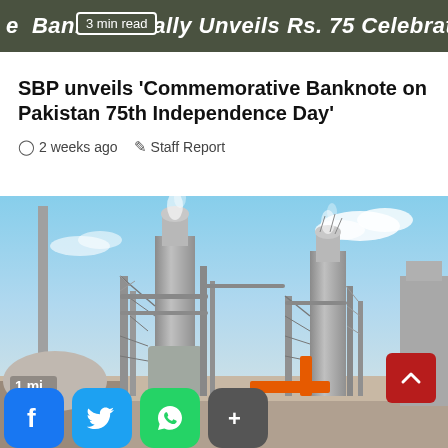e  Bank Officially Unveils Rs. 75 Celebratory N  3 min read
SBP unveils 'Commemorative Banknote on Pakistan 75th Independence Day'
2 weeks ago   Staff Report
[Figure (photo): Industrial power plant or refinery with large metallic towers, scaffolding, pipes, cranes visible against a blue sky with white clouds. Smoke or steam rising from towers.]
1 min